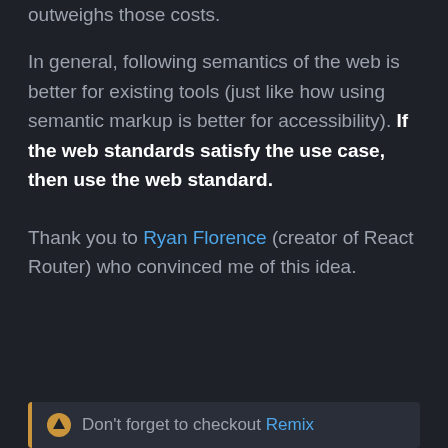outweighs those costs.
In general, following semantics of the web is better for existing tools (just like how using semantic markup is better for accessibility). If the web standards satisfy the use case, then use the web standard.
Thank you to Ryan Florence (creator of React Router) who convinced me of this idea.
Don't forget to checkout Remix